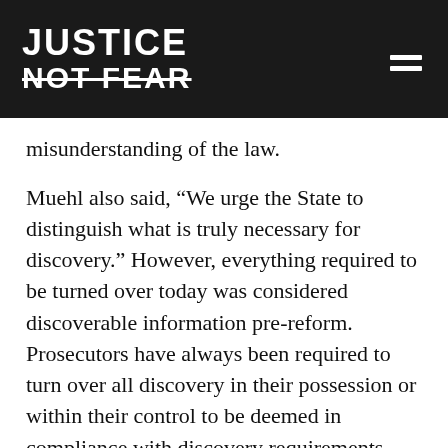JUSTICE NOT FEAR
misunderstanding of the law.
Muehl also said, “We urge the State to distinguish what is truly necessary for discovery.” However, everything required to be turned over today was considered discoverable information pre-reform. Prosecutors have always been required to turn over all discovery in their possession or within their control to be deemed in compliance with discovery requirements before trial. The change has been to the timeline in which this information must be disclosed. The discovery law addressed prosecutorial practices that let people languish for months and years, often in